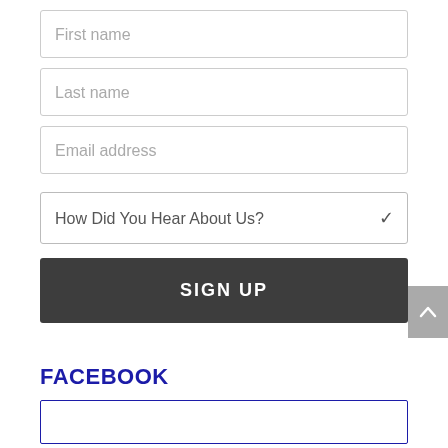First name
Last name
Email address
How Did You Hear About Us?
SIGN UP
FACEBOOK
[Figure (other): Empty Facebook embed box with blue border]